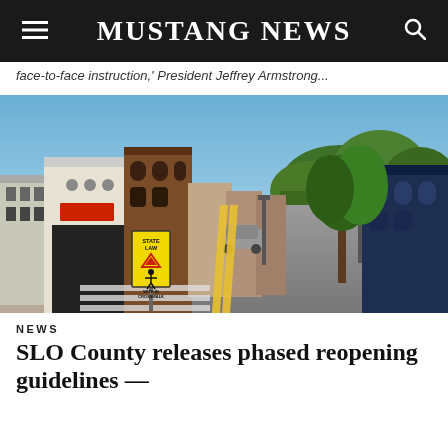MUSTANG NEWS
face-to-face instruction,' President Jeffrey Armstrong...
[Figure (photo): Empty downtown street with buildings on left, trees on right, a yellow State Law crosswalk sign in the foreground, and a clear blue sky. The street appears deserted.]
NEWS
SLO County releases phased reopening guidelines —